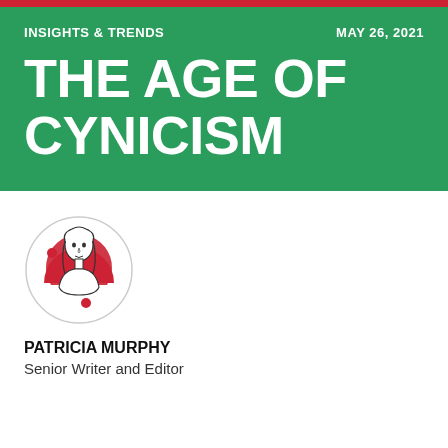INSIGHTS & TRENDS | MAY 26, 2021
THE AGE OF CYNICISM
[Figure (illustration): Circular portrait illustration of Patricia Murphy, a woman with long hair, drawn in line art style with a red semicircle background accent and two small red dots]
PATRICIA MURPHY
Senior Writer and Editor